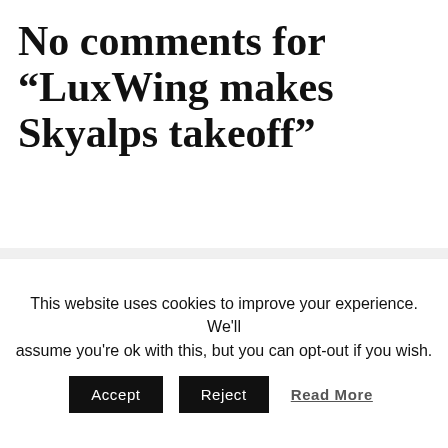No comments for “LuxWing makes Skyalps takeoff”
Leave Comment
Comment
This website uses cookies to improve your experience. We'll assume you're ok with this, but you can opt-out if you wish.
Accept  Reject  Read More